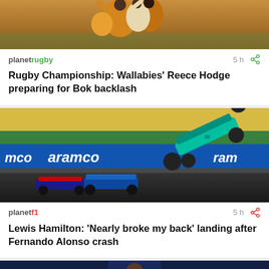[Figure (photo): Rugby players in orange jerseys, aerial action shot]
planetrugby  5h
Rugby Championship: Wallabies' Reece Hodge preparing for Bok backlash
[Figure (photo): Formula 1 crash — Lewis Hamilton's car airborne after collision with Fernando Alonso, aramco sponsorship banner visible]
planetf1  5h
Lewis Hamilton: 'Nearly broke my back' landing after Fernando Alonso crash
[Figure (photo): Chelsea footballer in blue Samsung Mobile jersey]